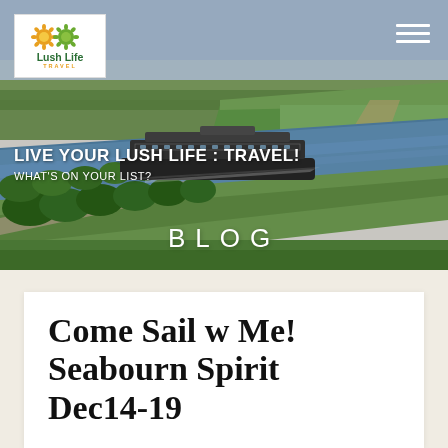[Figure (photo): Aerial view of a river cruise ship sailing on a wide river through green countryside with fields and trees. The photo serves as a hero banner for the Lush Life Travel blog.]
Lush Life Travel — LIVE YOUR LUSH LIFE : TRAVEL! WHAT'S ON YOUR LIST?
BLOG
Come Sail w Me! Seabourn Spirit Dec14-19